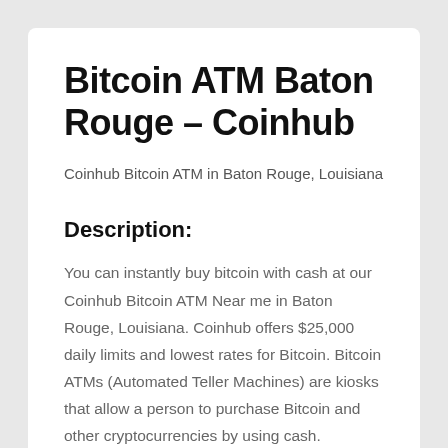Bitcoin ATM Baton Rouge – Coinhub
Coinhub Bitcoin ATM in Baton Rouge, Louisiana
Description:
You can instantly buy bitcoin with cash at our Coinhub Bitcoin ATM Near me in Baton Rouge, Louisiana. Coinhub offers $25,000 daily limits and lowest rates for Bitcoin. Bitcoin ATMs (Automated Teller Machines) are kiosks that allow a person to purchase Bitcoin and other cryptocurrencies by using cash. Coinhub's Bitcoin cash kiosks are a fast and convenient way to buy Bitcoin and have it delivered